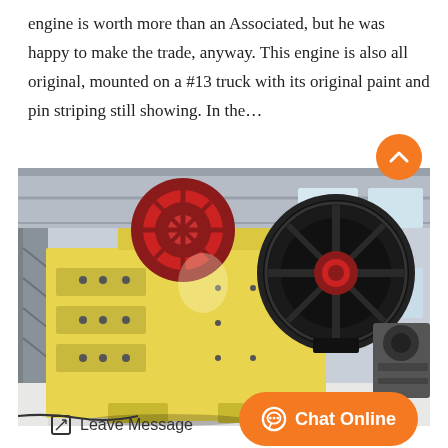engine is worth more than an Associated, but he was happy to make the trade, anyway. This engine is also all original, mounted on a #13 truck with its original paint and pin striping still showing. In the…
[Figure (photo): Industrial jaw crusher machine with yellow painted body, large black flywheel, red accent wheel at top, photographed in a factory/warehouse setting]
Leave Message
Chat Online